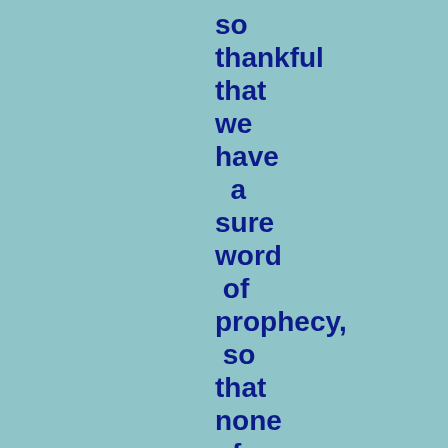so thankful that we have a sure word of prophecy, so that none ofus need be deceived."-LHU